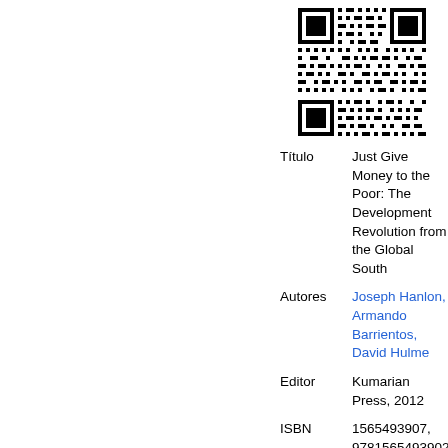[Figure (other): QR code for the book]
Título
Just Give Money to the Poor: The Development Revolution from the Global South
Autores
Joseph Hanlon, Armando Barrientos, David Hulme
Editor
Kumarian Press, 2012
ISBN
1565493907, 9781565493902
N.º do